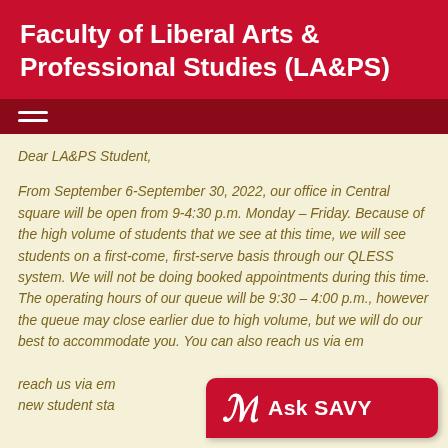Faculty of Liberal Arts & Professional Studies (LA&PS)
Dear LA&PS Student,
From September 6-September 30, 2022, our office in Central square will be open from 9-4:30 p.m. Monday – Friday. Because of the high volume of students that we see at this time, we will see students on a first-come, first-serve basis through our QLESS system. We will not be doing booked appointments during this time. The operating hours of our queue will be 9:30 – 4:00 p.m., however the queue may close earlier due to high volume, but we will do our best to accommodate you. You can also reach us via em... new student sta...
lapsadv@yorku.ca
[Figure (logo): Ask SAVY chatbot badge with stylized S icon and bold text 'Ask SAVY' on red rounded rectangle]